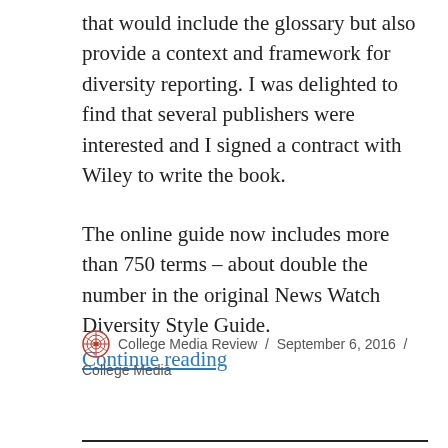that would include the glossary but also provide a context and framework for diversity reporting. I was delighted to find that several publishers were interested and I signed a contract with Wiley to write the book.
The online guide now includes more than 750 terms – about double the number in the original News Watch Diversity Style Guide. Continue reading
College Media Review / September 6, 2016 / College Media